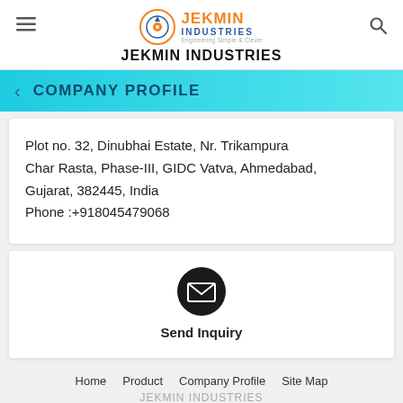JEKMIN INDUSTRIES
COMPANY PROFILE
Plot no. 32, Dinubhai Estate, Nr. Trikampura Char Rasta, Phase-III, GIDC Vatva, Ahmedabad, Gujarat, 382445, India
Phone :+918045479068
[Figure (illustration): Dark circular icon with envelope/mail symbol representing Send Inquiry]
Send Inquiry
Home   Product   Company Profile   Site Map
JEKMIN INDUSTRIES